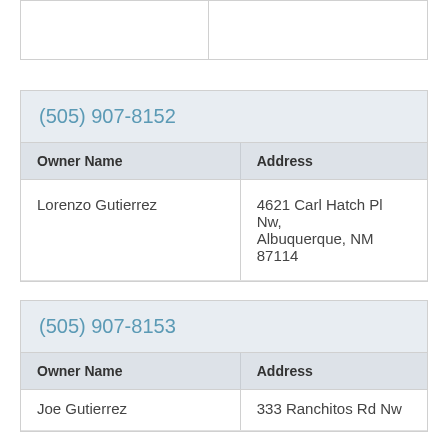| Owner Name | Address |
| --- | --- |
| Lorenzo Gutierrez | 4621 Carl Hatch Pl Nw, Albuquerque, NM 87114 |
| Owner Name | Address |
| --- | --- |
| Joe Gutierrez | 333 Ranchitos Rd Nw... |